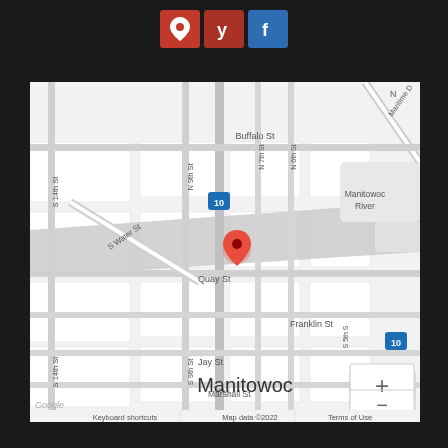[Figure (other): Three social media icon buttons: Google Maps (red pin icon), Yelp (red with Yelp icon), Facebook (blue with Facebook icon)]
[Figure (map): Google Maps screenshot showing Manitowoc, Wisconsin area. A red location pin is placed on Quay St near N 9th St. Visible streets include Buffalo St, N 9th St, N 7th St, N 6th St, S Water St, Quay St, Franklin St, Jay St, Marshall St, S 14th St, S 9th St, Maritime Dr. The Manitowoc River is visible. Map includes zoom controls (+/-), Google logo, and footer text: Keyboard shortcuts | Map data ©2022 | Terms of Use]